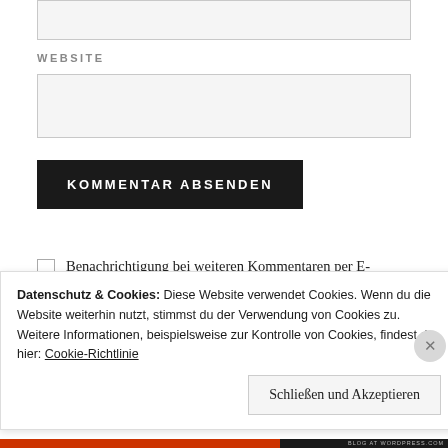WEBSITE
KOMMENTAR ABSENDEN
Benachrichtigung bei weiteren Kommentaren per E-Mail senden.
Datenschutz & Cookies: Diese Website verwendet Cookies. Wenn du die Website weiterhin nutzt, stimmst du der Verwendung von Cookies zu.
Weitere Informationen, beispielsweise zur Kontrolle von Cookies, findest du hier: Cookie-Richtlinie
Schließen und Akzeptieren